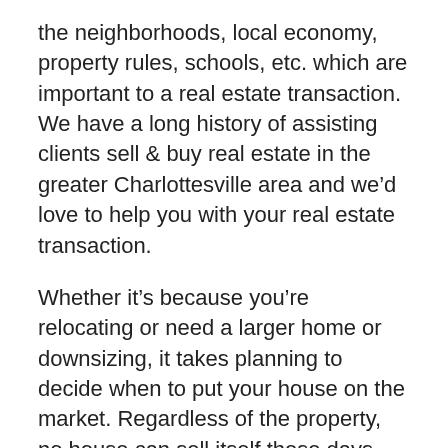the neighborhoods, local economy, property rules, schools, etc. which are important to a real estate transaction. We have a long history of assisting clients sell & buy real estate in the greater Charlottesville area and we'd love to help you with your real estate transaction.
Whether it's because you're relocating or need a larger home or downsizing, it takes planning to decide when to put your house on the market. Regardless of the property, no house can sell itself these days. Using a careless or inexperienced agent makes selling or buying your home a nightmare.
As resourceful real estate agents in Charlottesville and surrounding counties, I can assure you if you are selling your home with me that you will get the best price for your home and get it sold quickly with the least amount of stress. Your home spends fewer days